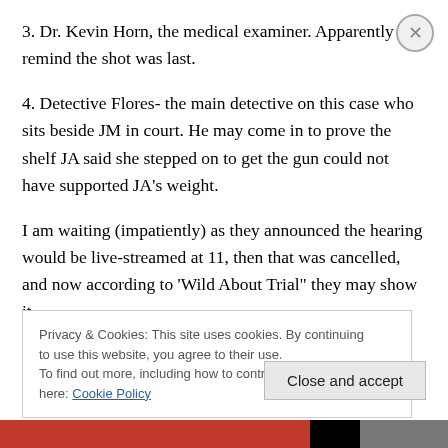3. Dr. Kevin Horn, the medical examiner. Apparently to remind the shot was last.
4. Detective Flores- the main detective on this case who sits beside JM in court. He may come in to prove the shelf JA said she stepped on to get the gun could not have supported JA's weight.
I am waiting (impatiently) as they announced the hearing would be live-streamed at 11, then that was cancelled, and now according to 'Wild About Trial" they may show it
Privacy & Cookies: This site uses cookies. By continuing to use this website, you agree to their use.
To find out more, including how to control cookies, see here: Cookie Policy